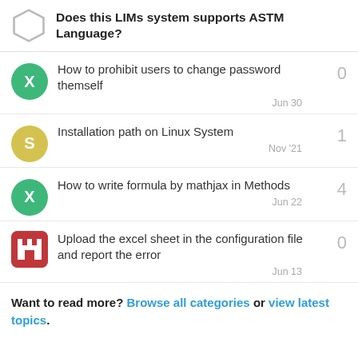Does this LIMs system supports ASTM Language?
How to prohibit users to change password themself — 0 — Jun 30
Installation path on Linux System — 1 — Nov '21
How to write formula by mathjax in Methods — 4 — Jun 22
Upload the excel sheet in the configuration file and report the error — 0 — Jun 13
Want to read more? Browse all categories or view latest topics.